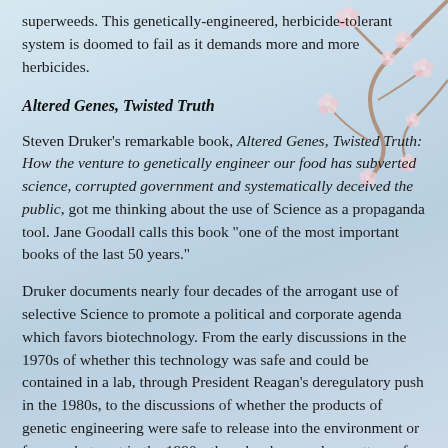superweeds. This genetically-engineered, herbicide-tolerant system is doomed to fail as it demands more and more herbicides.
Altered Genes, Twisted Truth
Steven Druker's remarkable book, Altered Genes, Twisted Truth: How the venture to genetically engineer our food has subverted science, corrupted government and systematically deceived the public, got me thinking about the use of Science as a propaganda tool. Jane Goodall calls this book "one of the most important books of the last 50 years."
Druker documents nearly four decades of the arrogant use of selective Science to promote a political and corporate agenda which favors biotechnology. From the early discussions in the 1970s of whether this technology was safe and could be contained in a lab, through President Reagan's deregulatory push in the 1980s, to the discussions of whether the products of genetic engineering were safe to release into the environment or for people to eat in the 1990s, there has been a clear pattern of generalizing biotech